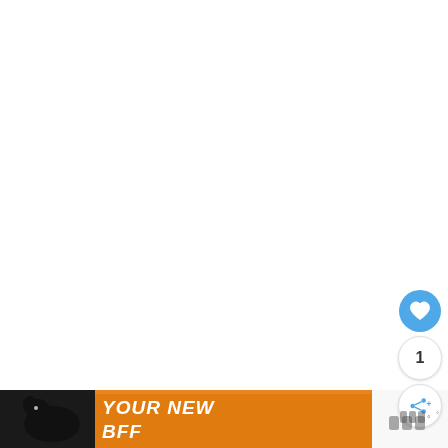[Figure (screenshot): White empty content area (webpage background/content region)]
[Figure (infographic): Social interaction buttons: blue heart/like button, count showing '1', share button with plus icon, and Woo app logo icons on the right side]
[Figure (infographic): Advertisement banner at bottom: orange background with a black dog image on left and bold white italic text 'YOUR NEW BFF' with an X close button]